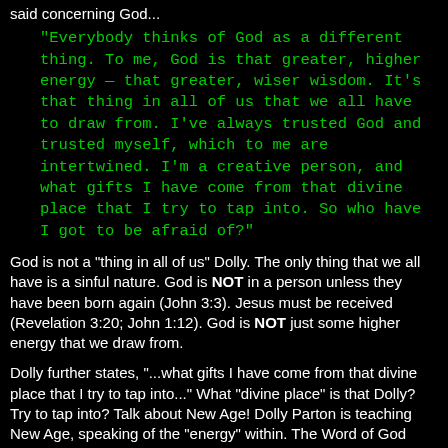said concerning God...
"Everybody thinks of God as a different thing. To me, God is that greater, higher energy — that greater, wiser wisdom. It's that thing in all of us that we all have to draw from. I've always trusted God and trusted myself, which to me are intertwined. I'm a creative person, and what gifts I have come from that divine place that I try to tap into. So who have I got to be afraid of?"
God is not a "thing in all of us" Dolly. The only thing that we all have is a sinful nature. God is NOT in a person unless they have been born again (John 3:3). Jesus must be received (Revelation 3:20; John 1:12). God is NOT just some higher energy that we draw from.
Dolly further states, "...what gifts I have come from that divine place that I try to tap into..." What "divine place" is that Dolly? Try to tap into? Talk about New Age! Dolly Parton is teaching New Age, speaking of the "energy" within. The Word of God condemns New Age teaching. Anytime you hear someone talking